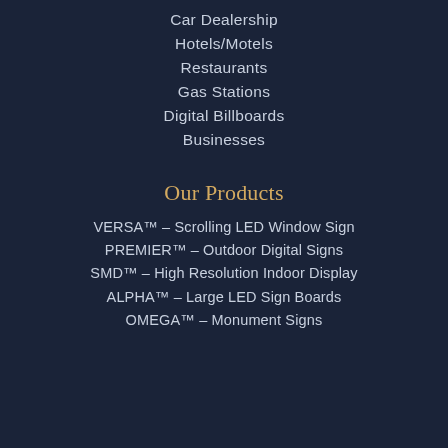Car Dealership
Hotels/Motels
Restaurants
Gas Stations
Digital Billboards
Businesses
Our Products
VERSA™ – Scrolling LED Window Sign
PREMIER™ – Outdoor Digital Signs
SMD™ – High Resolution Indoor Display
ALPHA™ – Large LED Sign Boards
OMEGA™ – Monument Signs